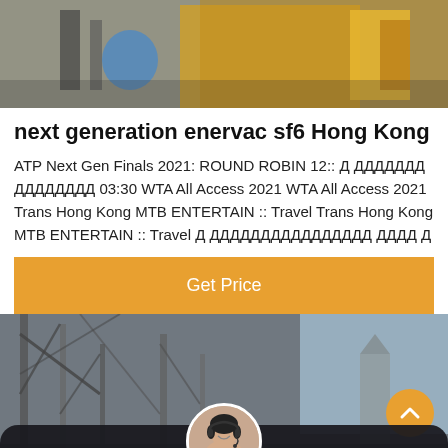[Figure (photo): Top photo showing industrial equipment — yellow machinery, blue barrel, workers in background]
next generation enervac sf6 Hong Kong
ATP Next Gen Finals 2021: ROUND ROBIN 12:: Д ДДДДДДД ДДДДДДДД 03:30 WTA All Access 2021 WTA All Access 2021 Trans Hong Kong MTB ENTERTAIN :: Travel Trans Hong Kong MTB ENTERTAIN :: Travel Д ДДДДДДДДДДДДДДДД ДДДД Д
Get Price
[Figure (photo): Bottom photo showing industrial structure — power lines, steel framework, sky background. Orange back-to-top button on right. Chat bar at bottom with Leave Message and Chat Online buttons and customer service avatar.]